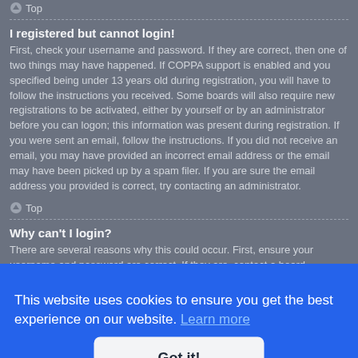Top
I registered but cannot login!
First, check your username and password. If they are correct, then one of two things may have happened. If COPPA support is enabled and you specified being under 13 years old during registration, you will have to follow the instructions you received. Some boards will also require new registrations to be activated, either by yourself or by an administrator before you can logon; this information was present during registration. If you were sent an email, follow the instructions. If you did not receive an email, you may have provided an incorrect email address or the email may have been picked up by a spam filer. If you are sure the email address you provided is correct, try contacting an administrator.
Top
Why can't I login?
There are several reasons why this could occur. First, ensure your username and password are correct. If they are, contact a board administrator to make sure you haven't been banned. It is also possible the website owner has a configuration error on their end, and they would need to fix it.
This website uses cookies to ensure you get the best experience on our website. Learn more
Got it!